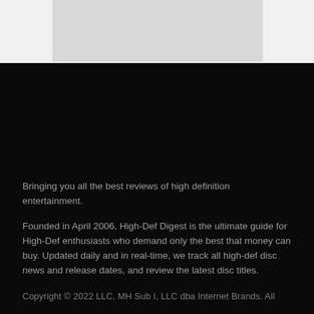[Figure (photo): Gray placeholder image area at the top of the page]
Bringing you all the best reviews of high definition entertainment.
Founded in April 2006, High-Def Digest is the ultimate guide for High-Def enthusiasts who demand only the best that money can buy. Updated daily and in real-time, we track all high-def disc news and release dates, and review the latest disc titles.
Copyright © 2022 LLC, MH Sub I, LLC dba Internet Brands. All